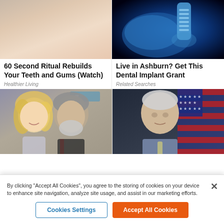[Figure (photo): Close-up of a person's lower face and smile, illustrating teeth health]
60 Second Ritual Rebuilds Your Teeth and Gums (Watch)
Healthier Living
[Figure (photo): Blue X-ray style image of a dental implant in a jaw]
Live in Ashburn? Get This Dental Implant Grant
Related Searches
[Figure (photo): Couple posing at an event, woman with blonde hair, man with grey beard, AT&T logo in background]
[Figure (photo): Older man in suit with American flag in background]
By clicking "Accept All Cookies", you agree to the storing of cookies on your device to enhance site navigation, analyze site usage, and assist in our marketing efforts.